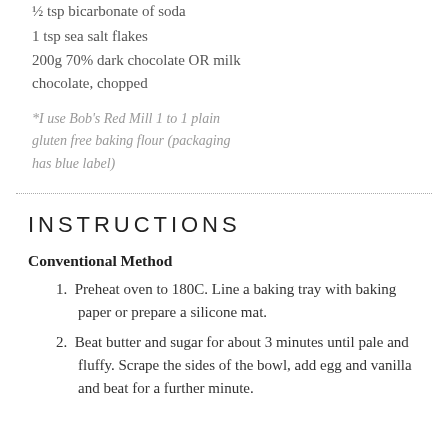½ tsp bicarbonate of soda
1 tsp sea salt flakes
200g 70% dark chocolate OR milk chocolate, chopped
*I use Bob's Red Mill 1 to 1 plain gluten free baking flour (packaging has blue label)
INSTRUCTIONS
Conventional Method
1. Preheat oven to 180C. Line a baking tray with baking paper or prepare a silicone mat.
2. Beat butter and sugar for about 3 minutes until pale and fluffy. Scrape the sides of the bowl, add egg and vanilla and beat for a further minute.